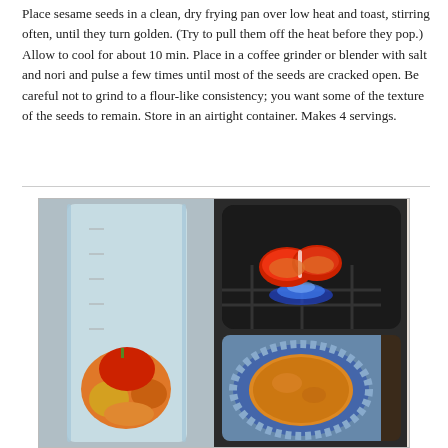Place sesame seeds in a clean, dry frying pan over low heat and toast, stirring often, until they turn golden. (Try to pull them off the heat before they pop.) Allow to cool for about 10 min. Place in a coffee grinder or blender with salt and nori and pulse a few times until most of the seeds are cracked open. Be careful not to grind to a flour-like consistency; you want some of the texture of the seeds to remain. Store in an airtight container. Makes 4 servings.
[Figure (photo): Two cooking photos side by side: left shows a tall clear measuring cup/blender jar with chopped orange/yellow vegetables and a red tomato inside; right top shows a cut red bell pepper being charred over a blue gas flame on a dark stovetop; right bottom shows a bowl with an orange-colored soup or puree with blue patterned rim.]